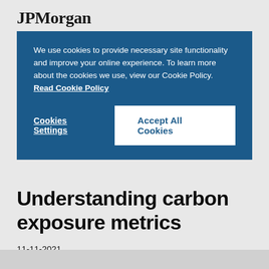JPMorgan
We use cookies to provide necessary site functionality and improve your online experience. To learn more about the cookies we use, view our Cookie Policy. Read Cookie Policy
Cookies Settings
Accept All Cookies
Understanding carbon exposure metrics
11-11-2021
Keven Roy, Rebecca Thomas